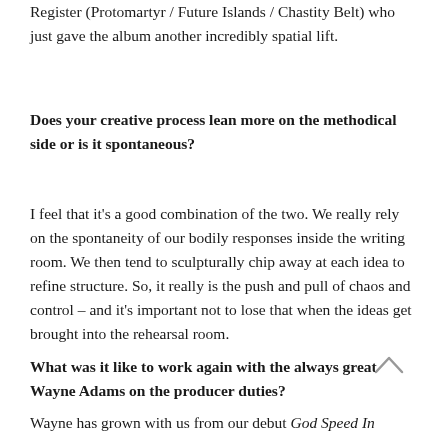Register (Protomartyr / Future Islands / Chastity Belt) who just gave the album another incredibly spatial lift.
Does your creative process lean more on the methodical side or is it spontaneous?
I feel that it's a good combination of the two. We really rely on the spontaneity of our bodily responses inside the writing room. We then tend to sculpturally chip away at each idea to refine structure. So, it really is the push and pull of chaos and control – and it's important not to lose that when the ideas get brought into the rehearsal room.
What was it like to work again with the always great Wayne Adams on the producer duties?
Wayne has grown with us from our debut God Speed In